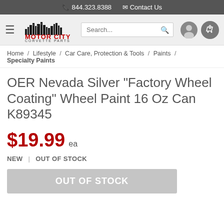844.323.8388  Contact Us
[Figure (logo): Motor City Corvette Parts logo with city skyline silhouette and red MOTOR CITY text]
Home / Lifestyle / Car Care, Protection & Tools / Paints / Specialty Paints
OER Nevada Silver "Factory Wheel Coating" Wheel Paint 16 Oz Can K89345
$19.99 ea
NEW  |  OUT OF STOCK
OUT OF STOCK